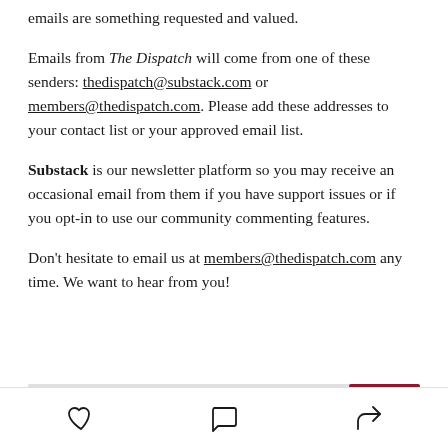emails are something requested and valued.
Emails from The Dispatch will come from one of these senders: thedispatch@substack.com or members@thedispatch.com. Please add these addresses to your contact list or your approved email list.
Substack is our newsletter platform so you may receive an occasional email from them if you have support issues or if you opt-in to use our community commenting features.
Don't hesitate to email us at members@thedispatch.com any time. We want to hear from you!
heart / comment / share icons